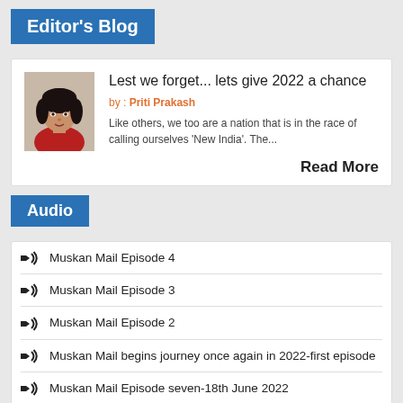Editor's Blog
[Figure (photo): Photo of Priti Prakash, a woman with short dark hair]
Lest we forget... lets give 2022 a chance
by : Priti Prakash
Like others, we too are a nation that is in the race of calling ourselves 'New India'. The...
Read More
Audio
Muskan Mail Episode 4
Muskan Mail Episode 3
Muskan Mail Episode 2
Muskan Mail begins journey once again in 2022-first episode
Muskan Mail Episode seven-18th June 2022